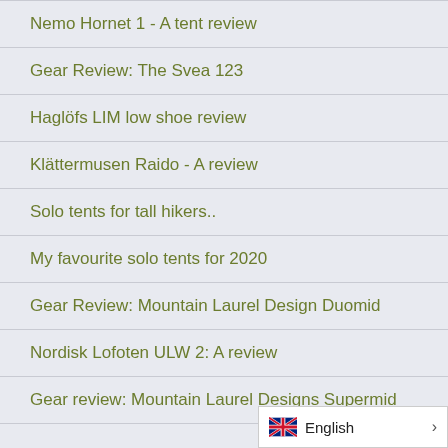Nemo Hornet 1 - A tent review
Gear Review: The Svea 123
Haglöfs LIM low shoe review
Klättermusen Raido - A review
Solo tents for tall hikers..
My favourite solo tents for 2020
Gear Review: Mountain Laurel Design Duomid
Nordisk Lofoten ULW 2: A review
Gear review: Mountain Laurel Designs Supermid
English